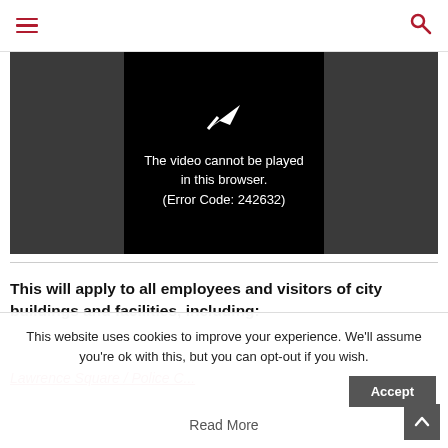Navigation header with hamburger menu and search icon
[Figure (screenshot): Video player showing error message: 'The video cannot be played in this browser. (Error Code: 242632)' with a play/arrow icon above on a black background, set against a dark grey video container.]
This will apply to all employees and visitors of city buildings and facilities, including:
Partial list item text visible (cut off)
This website uses cookies to improve your experience. We'll assume you're ok with this, but you can opt-out if you wish.
Read More